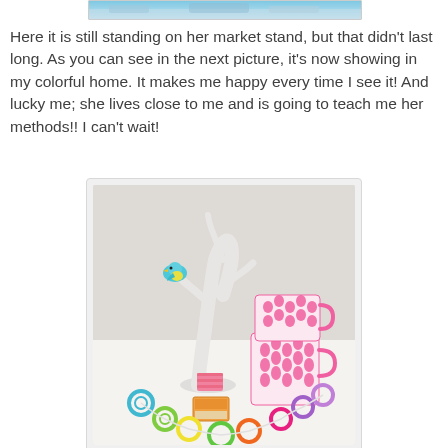[Figure (photo): Partial image of artwork or painting visible at top of page, cropped]
Here it is still standing on her market stand, but that didn't last long. As you can see in the next picture, it's now showing in my colorful home. It makes me happy every time I see it! And lucky me; she lives close to me and is going to teach me her methods!! I can't wait!
[Figure (photo): A styled flat lay photo showing a white sculptural bird/tree stand with a small colorful bird, two pink patterned mugs stacked, colorful crocheted circle coasters arranged in a garland, and a small book or card, all on a white surface.]